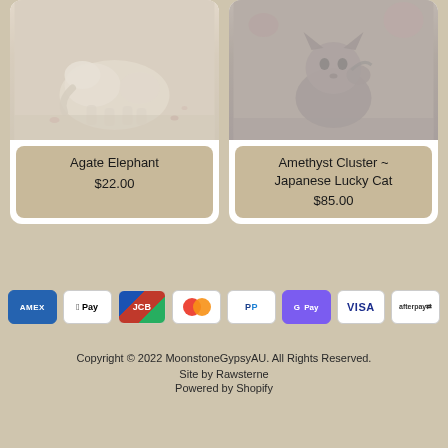[Figure (photo): Product card showing Agate Elephant figurine - pale white/translucent stone elephant on textured surface with dried flowers]
Agate Elephant
$22.00
[Figure (photo): Product card showing Amethyst Cluster Japanese Lucky Cat figurine - dark grey stone cat sculpture on textured surface]
Amethyst Cluster ~ Japanese Lucky Cat
$85.00
[Figure (infographic): Payment method icons: American Express (AMEX), Apple Pay, JCB, Mastercard, PayPal, Google Pay (GPay), Visa, Afterpay]
Copyright © 2022 MoonstoneGypsyAU. All Rights Reserved.
Site by Rawsterne
Powered by Shopify